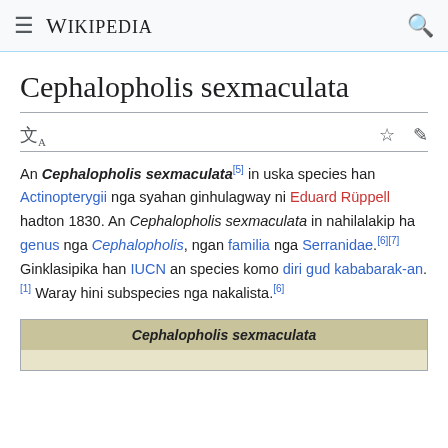≡ WIKIPEDIA 🔍
Cephalopholis sexmaculata
An Cephalopholis sexmaculata[5] in uska species han Actinopterygii nga syahan ginhulagway ni Eduard Rüppell hadton 1830. An Cephalopholis sexmaculata in nahilalakip ha genus nga Cephalopholis, ngan familia nga Serranidae.[6][7] Ginklasipika han IUCN an species komo diri gud kababarak-an.[1] Waray hini subspecies nga nakalista.[6]
| Cephalopholis sexmaculata |
| --- |
| (image placeholder) |